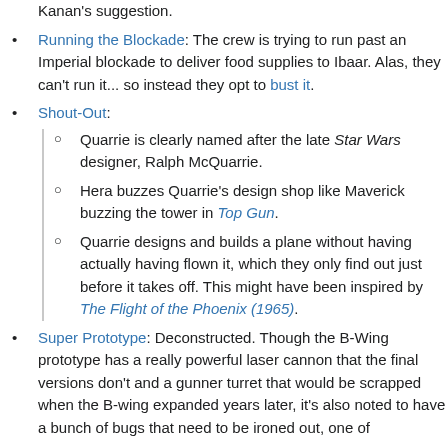Kanan's suggestion.
Running the Blockade: The crew is trying to run past an Imperial blockade to deliver food supplies to Ibaar. Alas, they can't run it... so instead they opt to bust it.
Shout-Out:
Quarrie is clearly named after the late Star Wars designer, Ralph McQuarrie.
Hera buzzes Quarrie's design shop like Maverick buzzing the tower in Top Gun.
Quarrie designs and builds a plane without having actually having flown it, which they only find out just before it takes off. This might have been inspired by The Flight of the Phoenix (1965).
Super Prototype: Deconstructed. Though the B-Wing prototype has a really powerful laser cannon that the final versions don't and a gunner turret that would be scrapped when the B-wing expanded years later, it's also noted to have a bunch of bugs that need to be ironed out, one of